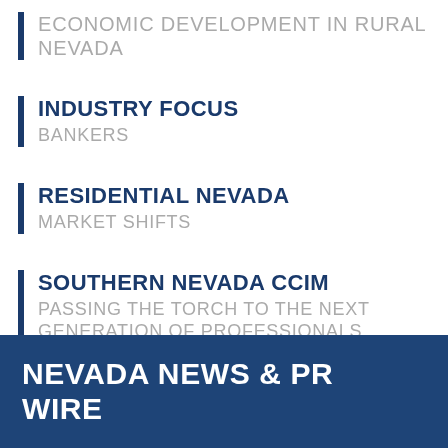ECONOMIC DEVELOPMENT IN RURAL NEVADA
INDUSTRY FOCUS
BANKERS
RESIDENTIAL NEVADA
MARKET SHIFTS
SOUTHERN NEVADA CCIM
PASSING THE TORCH TO THE NEXT GENERATION OF PROFESSIONALS
NEVADA NEWS & PR WIRE